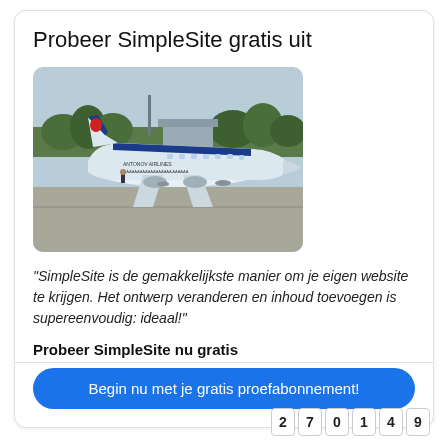Probeer SimpleSite gratis uit
[Figure (photo): A passenger jet aircraft (white with blue stripe) parked on an airport tarmac, with trees and buildings in the background.]
"SimpleSite is de gemakkelijkste manier om je eigen website te krijgen. Het ontwerp veranderen en inhoud toevoegen is supereenvoudig: ideaal!"
Probeer SimpleSite nu gratis
Begin nu met je gratis proefabonnement!
270149